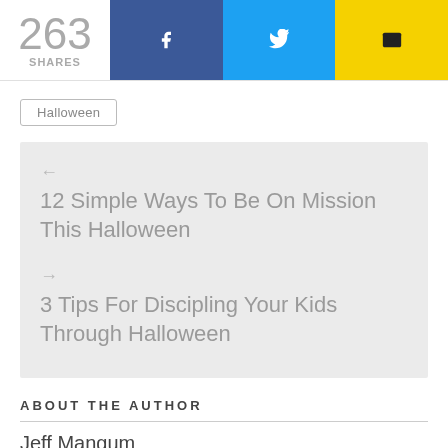263 SHARES
Halloween
← 12 Simple Ways To Be On Mission This Halloween
→ 3 Tips For Discipling Your Kids Through Halloween
ABOUT THE AUTHOR
Jeff Mangum